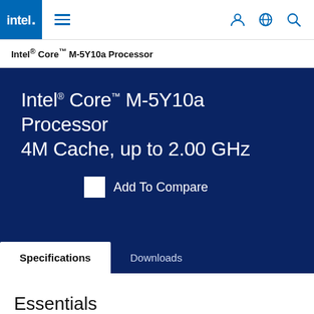intel. ☰  👤 🌐 🔍
Intel® Core™ M-5Y10a Processor
Intel® Core™ M-5Y10a Processor 4M Cache, up to 2.00 GHz
Add To Compare
Specifications  Downloads
Essentials